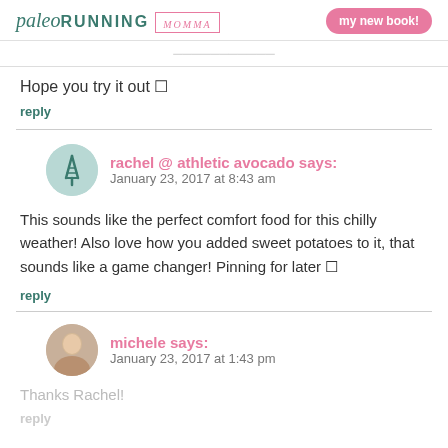paleo RUNNING MOMMA | my new book!
Hope you try it out 🙂
reply
rachel @ athletic avocado says: January 23, 2017 at 8:43 am
This sounds like the perfect comfort food for this chilly weather! Also love how you added sweet potatoes to it, that sounds like a game changer! Pinning for later 🙂
reply
michele says: January 23, 2017 at 1:43 pm
Thanks Rachel!
reply